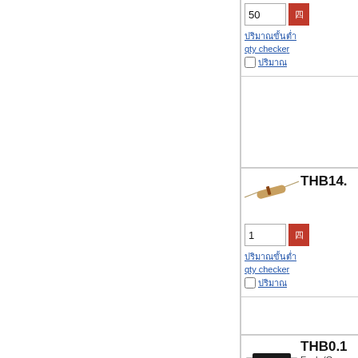[Figure (screenshot): Product listing page showing electronic components (resistors/capacitors) with part numbers THB14.x, THB0.1x, THB10.x, quantity input fields, add-to-cart red buttons, blue link text, qty checker links, and checkboxes. Left panel is blank white. Right panel shows product rows.]
50
qty checker
THB14.
1
qty checker
THB0.1
Each (On a
5000
qty checker
THB10.